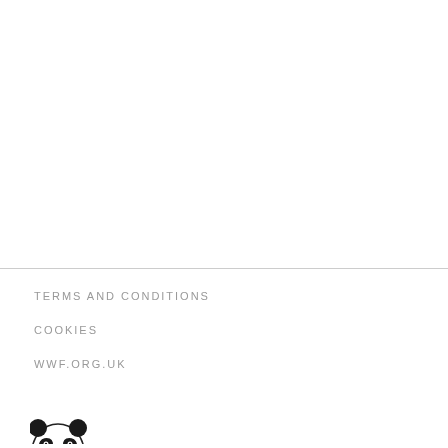TERMS AND CONDITIONS
COOKIES
WWF.ORG.UK
[Figure (logo): WWF panda logo, partially visible at bottom left corner]